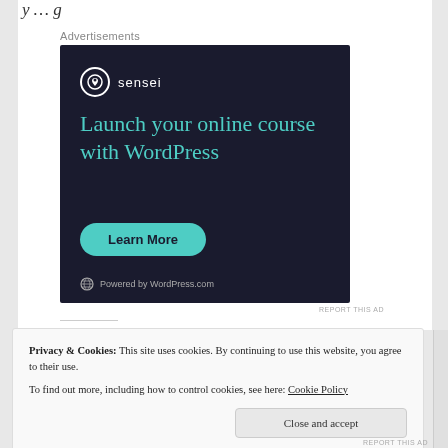y … g
Advertisements
[Figure (illustration): Sensei advertisement on dark navy background. Logo: white circle with tree icon and text 'sensei'. Headline in teal: 'Launch your online course with WordPress'. Teal pill-shaped button: 'Learn More'. Footer: WordPress logo and 'Powered by WordPress.com'.]
REPORT THIS AD
Privacy & Cookies: This site uses cookies. By continuing to use this website, you agree to their use.
To find out more, including how to control cookies, see here: Cookie Policy
Close and accept
REPORT THIS AD